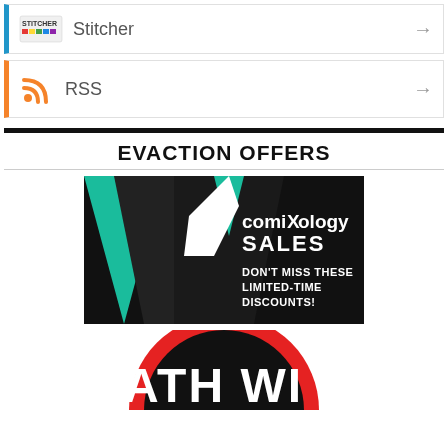[Figure (logo): Stitcher podcast app row with logo and arrow]
[Figure (logo): RSS feed row with RSS icon and arrow]
EVACTION OFFERS
[Figure (illustration): ComiXology Sales banner — geometric logo with text: comiXology SALES DON'T MISS THESE LIMITED-TIME DISCOUNTS!]
[Figure (logo): Death Wish Coffee circular logo — partial view showing ATH WI text]